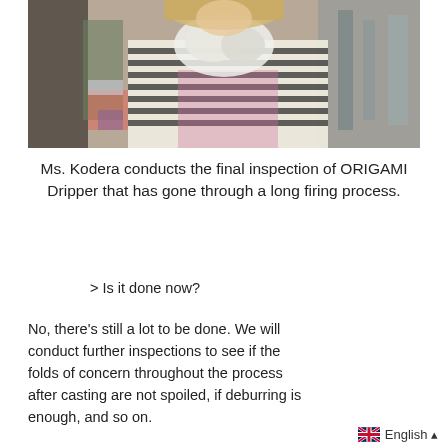[Figure (photo): A woman wearing a striped shirt and apron holds and inspects a white ceramic object (ORIGAMI Dripper) in an industrial/workshop setting.]
Ms. Kodera conducts the final inspection of ORIGAMI Dripper that has gone through a long firing process.
> Is it done now?
No, there's still a lot to be done. We will conduct further inspections to see if the folds of concern throughout the process after casting are not spoiled, if deburring is enough, and so on.
English